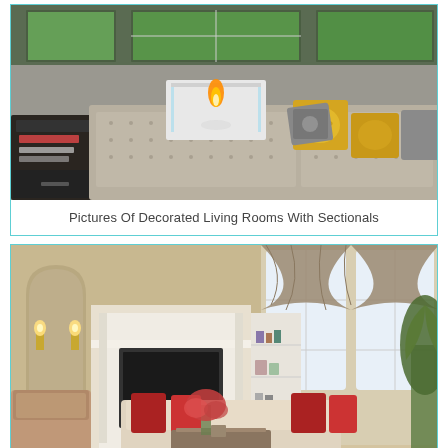[Figure (photo): Modern living room with a grey tufted sectional sofa, white tabletop fireplace with flame, yellow patterned throw pillows, dark side table with books, and large windows with green trees outside.]
Pictures Of Decorated Living Rooms With Sectionals
[Figure (photo): Elegant formal living room with high ceilings, white fireplace with built-in bookshelves, arched alcoves with wall sconces, large arched windows with draped swag curtains, cream sofas with red pillows, floral arrangement, and large indoor plant.]